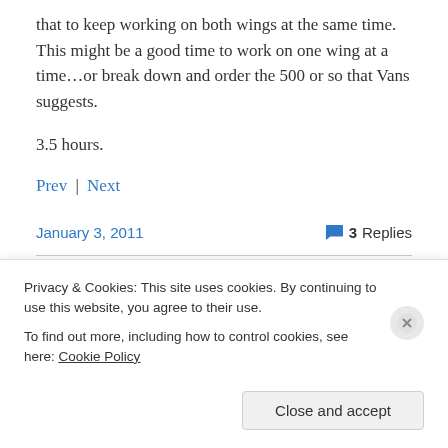that to keep working on both wings at the same time. This might be a good time to work on one wing at a time…or break down and order the 500 or so that Vans suggests.
3.5 hours.
Prev | Next
January 3, 2011
3 Replies
Finished Left Rear Spar
Privacy & Cookies: This site uses cookies. By continuing to use this website, you agree to their use.
To find out more, including how to control cookies, see here: Cookie Policy
Close and accept